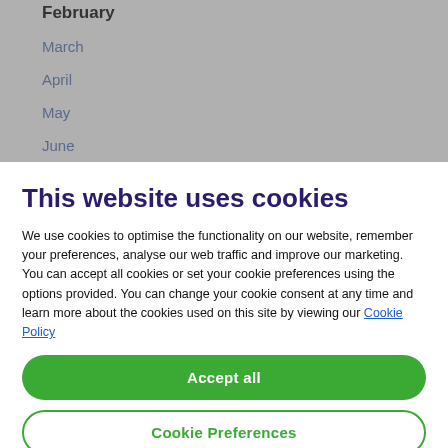February
March
April
May
June
This website uses cookies
We use cookies to optimise the functionality on our website, remember your preferences, analyse our web traffic and improve our marketing. You can accept all cookies or set your cookie preferences using the options provided. You can change your cookie consent at any time and learn more about the cookies used on this site by viewing our Cookie Policy